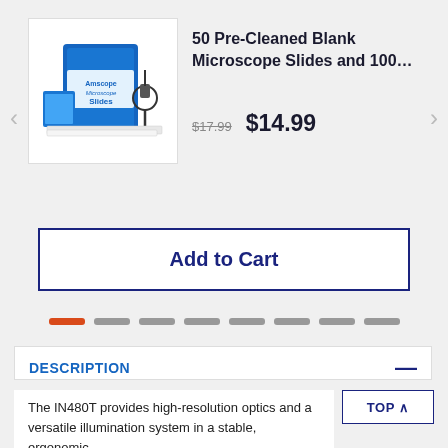[Figure (photo): Product photo of microscope slides box and microscope]
50 Pre-Cleaned Blank Microscope Slides and 100…
$17.99 $14.99
Add to Cart
DESCRIPTION
The IN480T provides high-resolution optics and a versatile illumination system in a stable, ergonomic design for observing cell cultures and other biological and chemical specimens. The inverted form accommodates larger specimen containers, with